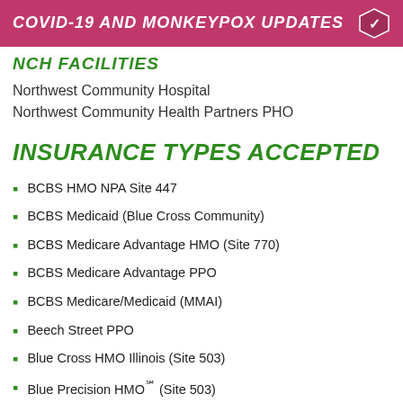COVID-19 AND MONKEYPOX UPDATES
NCH FACILITIES
Northwest Community Hospital
Northwest Community Health Partners PHO
INSURANCE TYPES ACCEPTED
BCBS HMO NPA Site 447
BCBS Medicaid (Blue Cross Community)
BCBS Medicare Advantage HMO (Site 770)
BCBS Medicare Advantage PPO
BCBS Medicare/Medicaid (MMAI)
Beech Street PPO
Blue Cross HMO Illinois (Site 503)
Blue Precision HMO℠ (Site 503)